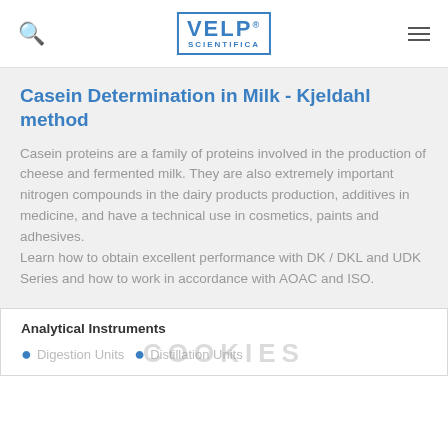VELP SCIENTIFICA — search and navigation header
Casein Determination in Milk - Kjeldahl method
Casein proteins are a family of proteins involved in the production of cheese and fermented milk. They are also extremely important nitrogen compounds in the dairy products production, additives in medicine, and have a technical use in cosmetics, paints and adhesives. Learn how to obtain excellent performance with DK / DKL and UDK Series and how to work in accordance with AOAC and ISO.
Analytical Instruments
Digestion Units
Distillation Units